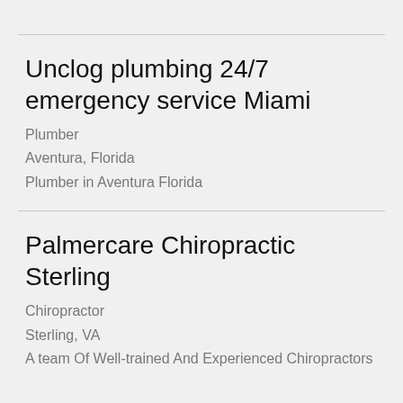Unclog plumbing 24/7 emergency service Miami
Plumber
Aventura, Florida
Plumber in Aventura Florida
Palmercare Chiropractic Sterling
Chiropractor
Sterling, VA
A team Of Well-trained And Experienced Chiropractors